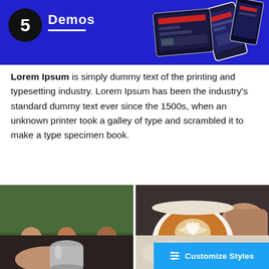[Figure (infographic): Dark blue banner with large number 5 in black circle, bold white text 'Demos' with white underline, decorative phone/tablet graphics on right side]
Lorem Ipsum is simply dummy text of the printing and typesetting industry. Lorem Ipsum has been the industry's standard dummy text ever since the 1500s, when an unknown printer took a galley of type and scrambled it to make a type specimen book.
[Figure (photo): Photo of three people sitting at a table outdoors, working on a laptop in a cafe setting]
[Figure (photo): Close-up photo of a hand holding a coffee cup with latte art]
[Figure (photo): Photo of a hand holding a metal coffee jug/pitcher from below]
[Figure (photo): Partial photo on right side, partially covered by 'Customize Styles' button overlay]
Customize Styles